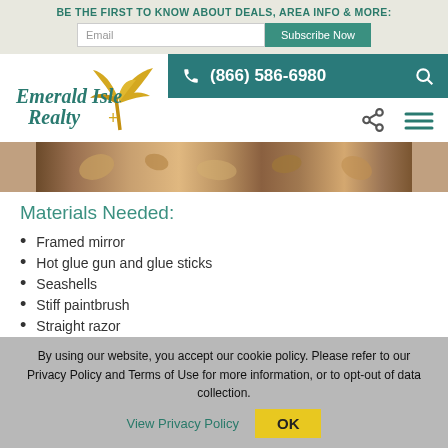BE THE FIRST TO KNOW ABOUT DEALS, AREA INFO & MORE:
[Figure (logo): Emerald Isle Realty logo with palm tree graphic in teal and yellow]
(866) 586-6980
[Figure (photo): Close-up photo of seashells, likely on a beach or table]
Materials Needed:
Framed mirror
Hot glue gun and glue sticks
Seashells
Stiff paintbrush
Straight razor
Window cleaner
Cloth or paper towel
By using our website, you accept our cookie policy. Please refer to our Privacy Policy and Terms of Use for more information, or to opt-out of data collection. View Privacy Policy OK